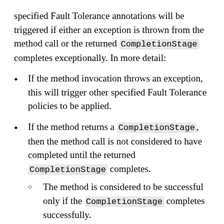specified Fault Tolerance annotations will be triggered if either an exception is thrown from the method call or the returned CompletionStage completes exceptionally. In more detail:
If the method invocation throws an exception, this will trigger other specified Fault Tolerance policies to be applied.
If the method returns a CompletionStage, then the method call is not considered to have completed until the returned CompletionStage completes.
The method is considered to be successful only if the CompletionStage completes successfully.
If an exceptionally completed...